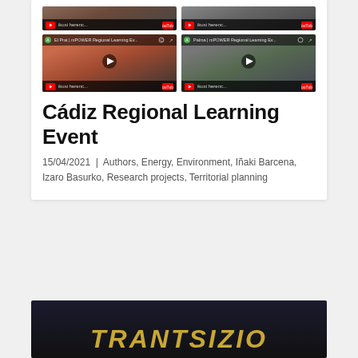[Figure (screenshot): Four YouTube video thumbnails in a 2x2 grid. Top row shows two video thumbnails with dark/muted appearance. Bottom row shows two thumbnails: left features a woman with long red-brown hair in a red turtleneck (El Prat | mPOWER Regional Learning Ev...), right features a woman with shoulder-length brown hair (Palma | mPOWER Regional Learning Ev...). Both bottom thumbnails have play buttons visible.]
Cádiz Regional Learning Event
15/04/2021 | Authors, Energy, Environment, Iñaki Barcena, Izaro Basurko, Research projects, Territorial planning
[Figure (photo): Dark photograph with large gold/yellow italic bold text reading TRANTSIZIO at the bottom, set against a dark sky background.]